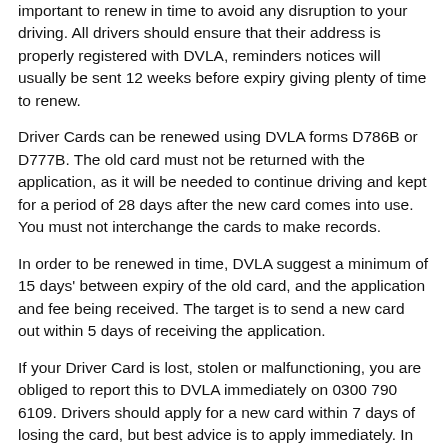important to renew in time to avoid any disruption to your driving. All drivers should ensure that their address is properly registered with DVLA, reminders notices will usually be sent 12 weeks before expiry giving plenty of time to renew.
Driver Cards can be renewed using DVLA forms D786B or D777B. The old card must not be returned with the application, as it will be needed to continue driving and kept for a period of 28 days after the new card comes into use. You must not interchange the cards to make records.
In order to be renewed in time, DVLA suggest a minimum of 15 days' between expiry of the old card, and the application and fee being received. The target is to send a new card out within 5 days of receiving the application.
If your Driver Card is lost, stolen or malfunctioning, you are obliged to report this to DVLA immediately on 0300 790 6109. Drivers should apply for a new card within 7 days of losing the card, but best advice is to apply immediately. In the meantime